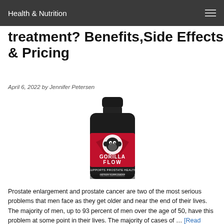Health & Nutrition
treatment? Benefits,Side Effects & Pricing
April 6, 2022 by Jennifer Petersen
[Figure (photo): Gorilla Flow supplement bottle – black bottle with red label featuring a gorilla graphic, text reads GORILLA FLOW, Supports Prostate Health, Dietary Supplement]
Prostate enlargement and prostate cancer are two of the most serious problems that men face as they get older and near the end of their lives. The majority of men, up to 93 percent of men over the age of 50, have this problem at some point in their lives. The majority of cases of … [Read more...]